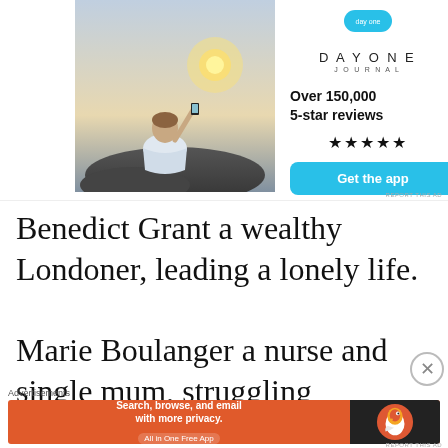[Figure (photo): Advertisement for Day One Journal app showing a person sitting on rocks photographing a sunset, with the Day One Journal logo, text 'Over 150,000 5-star reviews', five star rating, and a 'Get the app' button]
Benedict Grant a wealthy Londoner, leading a lonely life.
Marie Boulanger a nurse and single mum, struggling
Advertisements
[Figure (screenshot): DuckDuckGo advertisement banner: 'Search, browse, and email with more privacy. All in One Free App' on orange background with DuckDuckGo logo on dark right side]